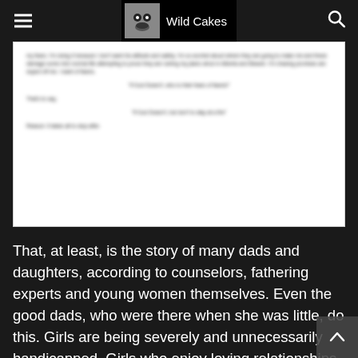Wild Cakes
[Figure (screenshot): Blurred/redacted screenshot of text content showing paragraphs and dialogue lines]
That, at least, is the story of many dads and daughters, according to counselors, fathering experts and young women themselves. Even the good dads, who were there when she was little, do this. Girls are being severely and unnecessarily handicapped. Girls who enjoy loving relationships with their fathers through adolescence show